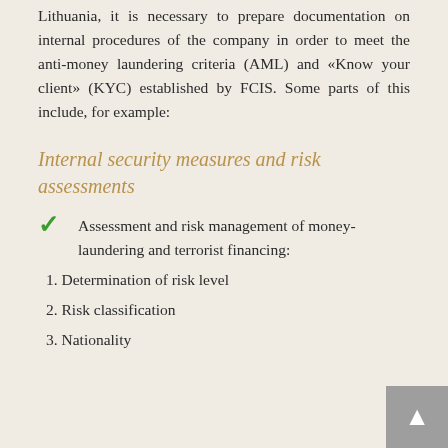Lithuania, it is necessary to prepare documentation on internal procedures of the company in order to meet the anti-money laundering criteria (AML) and «Know your client» (KYC) established by FCIS. Some parts of this include, for example:
Internal security measures and risk assessments
Assessment and risk management of money-laundering and terrorist financing:
1. Determination of risk level
2. Risk classification
3. Nationality